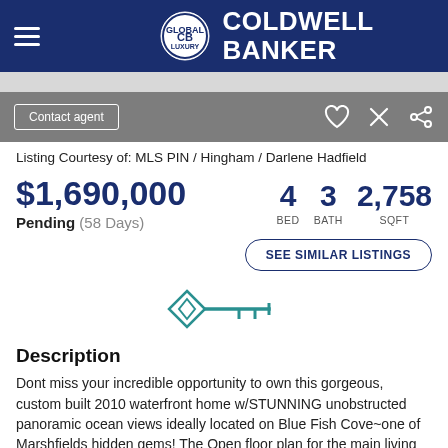COLDWELL BANKER
Listing Courtesy of: MLS PIN / Hingham / Darlene Hadfield
$1,690,000
Pending (58 Days)
4 BED  3 BATH  2,758 SQFT
SEE SIMILAR LISTINGS
[Figure (illustration): Teal key icon with horizontal bar]
Description
Dont miss your incredible opportunity to own this gorgeous, custom built 2010 waterfront home w/STUNNING unobstructed panoramic ocean views ideally located on Blue Fish Cove~one of Marshfields hidden gems! The Open floor plan for the main living